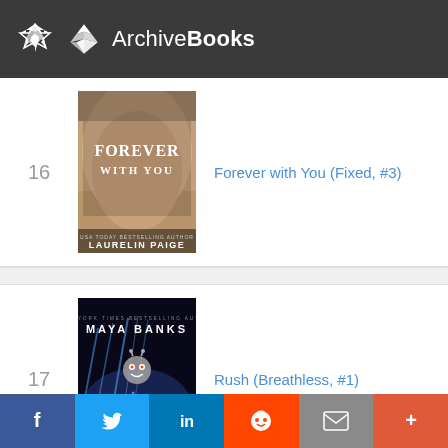ArchiveBooks
16 – Forever with You (Fixed, #3)
17 – Rush (Breathless, #1)
[Figure (screenshot): Partial book cover at the bottom of the page]
Social share bar: Facebook, Twitter, LinkedIn, Reddit, Email, More